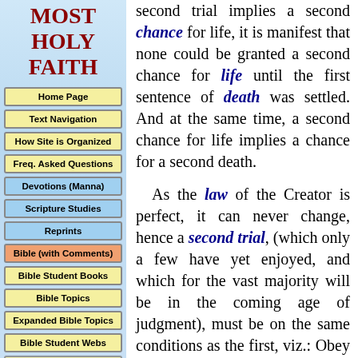MOST HOLY FAITH
Home Page
Text Navigation
How Site is Organized
Freq. Asked Questions
Devotions (Manna)
Scripture Studies
Reprints
Bible (with Comments)
Bible Student Books
Bible Topics
Expanded Bible Topics
Bible Student Webs
Miscellaneous
second trial implies a second chance for life, it is manifest that none could be granted a second chance for life until the first sentence of death was settled. And at the same time, a second chance for life implies a chance for a second death.

As the law of the Creator is perfect, it can never change, hence a second trial, (which only a few have yet enjoyed, and which for the vast majority will be in the coming age of judgment), must be on the same conditions as the first, viz.: Obey and live forever, disobey and die forever. Not